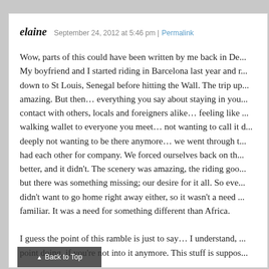elaine   September 24, 2012 at 5:46 pm | Permalink
Wow, parts of this could have been written by me back in De... My boyfriend and I started riding in Barcelona last year and r... down to St Louis, Senegal before hitting the Wall. The trip up... amazing. But then… everything you say about staying in you... contact with others, locals and foreigners alike… feeling like ... walking wallet to everyone you meet… not wanting to call it d... deeply not wanting to be there anymore… we went through t... had each other for company. We forced ourselves back on th... better, and it didn't. The scenery was amazing, the riding goo... but there was something missing; our desire for it all. So eve... didn't want to go home right away either, so it wasn't a need ... familiar. It was a need for something different than Africa. I guess the point of this ramble is just to say… I understand, ... point doing, if you're not into it anymore. This stuff is suppos...